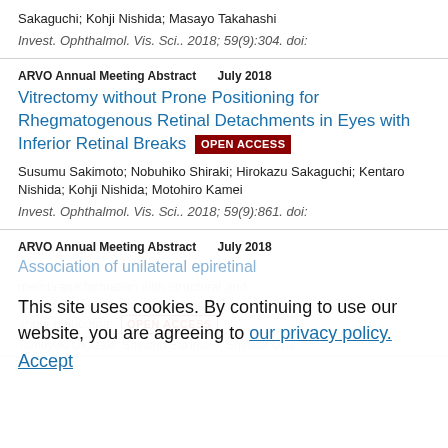Sakaguchi; Kohji Nishida; Masayo Takahashi
Invest. Ophthalmol. Vis. Sci.. 2018; 59(9):304. doi:
ARVO Annual Meeting Abstract   July 2018
Vitrectomy without Prone Positioning for Rhegmatogenous Retinal Detachments in Eyes with Inferior Retinal Breaks OPEN ACCESS
Susumu Sakimoto; Nobuhiko Shiraki; Hirokazu Sakaguchi; Kentaro Nishida; Kohji Nishida; Motohiro Kamei
Invest. Ophthalmol. Vis. Sci.. 2018; 59(9):861. doi:
ARVO Annual Meeting Abstract   July 2018
Association of unilateral epiretinal
This site uses cookies. By continuing to use our website, you are agreeing to our privacy policy. Accept